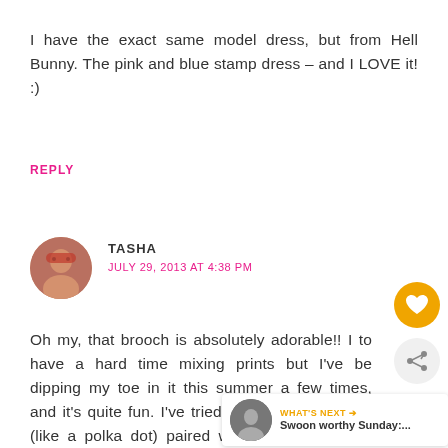I have the exact same model dress, but from Hell Bunny. The pink and blue stamp dress – and I LOVE it! :)
REPLY
TASHA
JULY 29, 2013 AT 4:38 PM
Oh my, that brooch is absolutely adorable!! I to have a hard time mixing prints but I've be dipping my toe in it this summer a few times, and it's quite fun. I've tried to stick to less busy (like a polka dot) paired with something more busy (like a plaid or floral). I always think it